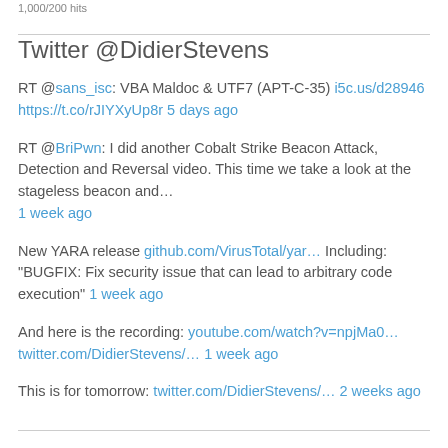1,000/200 hits
Twitter @DidierStevens
RT @sans_isc: VBA Maldoc & UTF7 (APT-C-35) i5c.us/d28946 https://t.co/rJIYXyUp8r 5 days ago
RT @BriPwn: I did another Cobalt Strike Beacon Attack, Detection and Reversal video. This time we take a look at the stageless beacon and… 1 week ago
New YARA release github.com/VirusTotal/yar… Including: "BUGFIX: Fix security issue that can lead to arbitrary code execution" 1 week ago
And here is the recording: youtube.com/watch?v=npjMa0… twitter.com/DidierStevens/… 1 week ago
This is for tomorrow: twitter.com/DidierStevens/… 2 weeks ago